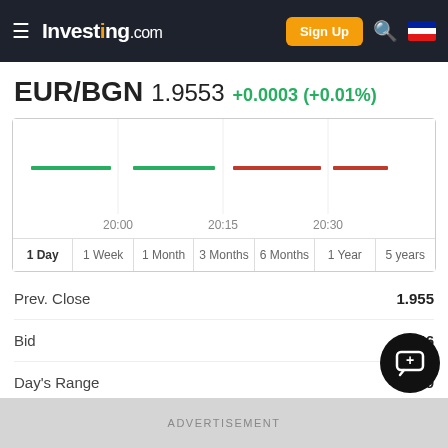Investing.com
EUR/BGN 1.9553 +0.0003 (+0.01%)
[Figure (line-chart): EUR/BGN intraday chart]
| Label | Value |
| --- | --- |
| Prev. Close | 1.955 |
| Bid | —46 |
| Day's Range | 1.9… |
ADVERTISEMENT